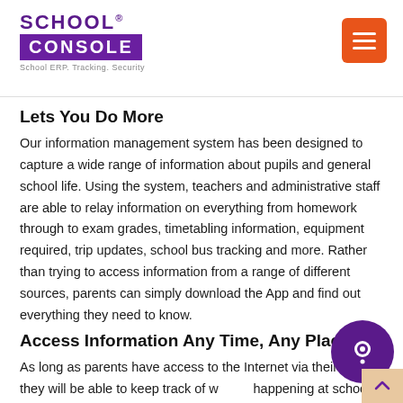SCHOOL CONSOLE — School ERP. Tracking. Security
Lets You Do More
Our information management system has been designed to capture a wide range of information about pupils and general school life. Using the system, teachers and administrative staff are able to relay information on everything from homework through to exam grades, timetabling information, equipment required, trip updates, school bus tracking and more. Rather than trying to access information from a range of different sources, parents can simply download the App and find out everything they need to know.
Access Information Any Time, Any Place
As long as parents have access to the Internet via their phone, they will be able to keep track of what is happening at school at any time. This is a significant advantage when it comes to letting them know about